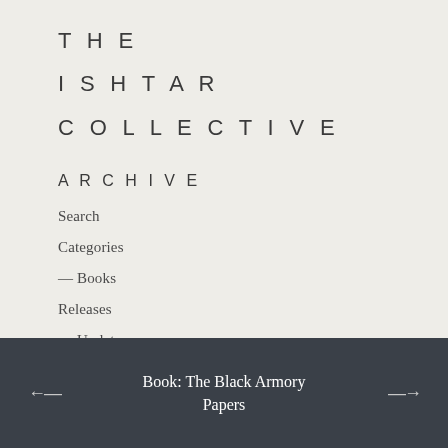THE ISHTAR COLLECTIVE
ARCHIVE
Search
Categories
— Books
Releases
— Updates
Episodes
Timeline
← Book: The Black Armory Papers →